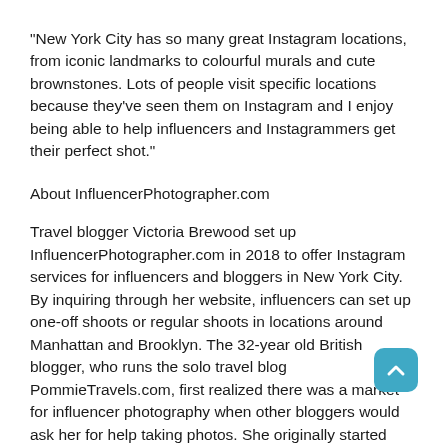"New York City has so many great Instagram locations, from iconic landmarks to colourful murals and cute brownstones. Lots of people visit specific locations because they've seen them on Instagram and I enjoy being able to help influencers and Instagrammers get their perfect shot."
About InfluencerPhotographer.com
Travel blogger Victoria Brewood set up InfluencerPhotographer.com in 2018 to offer Instagram services for influencers and bloggers in New York City. By inquiring through her website, influencers can set up one-off shoots or regular shoots in locations around Manhattan and Brooklyn. The 32-year old British blogger, who runs the solo travel blog PommieTravels.com, first realized there was a market for influencer photography when other bloggers would ask her for help taking photos. She originally started offering photography services in London before relocating to New York.
For more information, visit